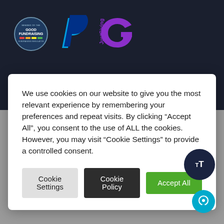[Figure (logo): Header area with Good Fundraising badge, PayPal P logo, and JustGiving G logo on dark navy background]
We use cookies on our website to give you the most relevant experience by remembering your preferences and repeat visits. By clicking “Accept All”, you consent to the use of ALL the cookies. However, you may visit “Cookie Settings” to provide a controlled consent.
[Figure (screenshot): Cookie consent buttons: Cookie Settings (light grey), Cookie Policy (dark/black), Accept All (green)]
[Figure (other): Floating action buttons: TT text size button (dark navy circle) and chat bubble button (cyan circle) at bottom right]